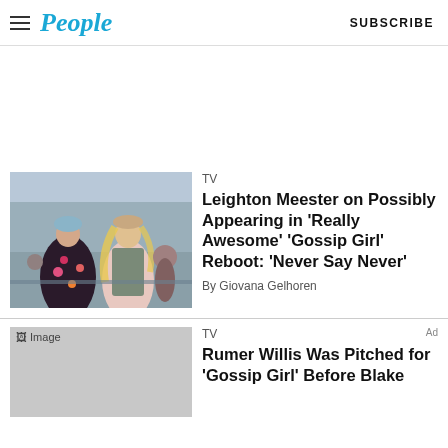People | SUBSCRIBE
TV
Leighton Meester on Possibly Appearing in 'Really Awesome' 'Gossip Girl' Reboot: 'Never Say Never'
By Giovana Gelhoren
TV
Rumer Willis Was Pitched for 'Gossip Girl' Before Blake
Ad